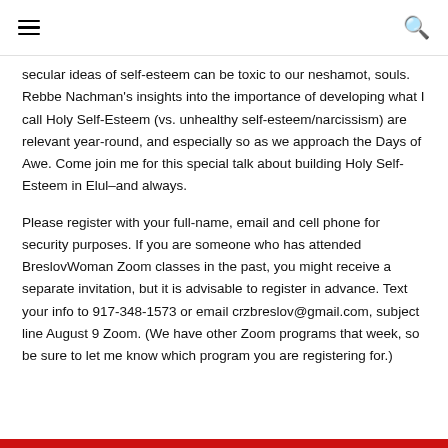☰  🔍
secular ideas of self-esteem can be toxic to our neshamot, souls. Rebbe Nachman's insights into the importance of developing what I call Holy Self-Esteem (vs. unhealthy self-esteem/narcissism) are relevant year-round, and especially so as we approach the Days of Awe. Come join me for this special talk about building Holy Self-Esteem in Elul–and always.
Please register with your full-name, email and cell phone for security purposes. If you are someone who has attended BreslovWoman Zoom classes in the past, you might receive a separate invitation, but it is advisable to register in advance. Text your info to 917-348-1573 or email crzbreslov@gmail.com, subject line August 9 Zoom. (We have other Zoom programs that week, so be sure to let me know which program you are registering for.)